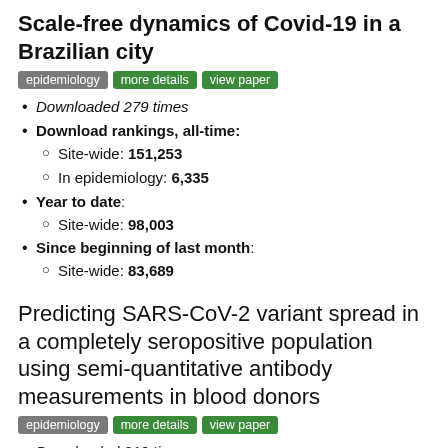Scale-free dynamics of Covid-19 in a Brazilian city
epidemiology | more details | view paper
Downloaded 279 times
Download rankings, all-time:
Site-wide: 151,253
In epidemiology: 6,335
Year to date:
Site-wide: 98,003
Since beginning of last month:
Site-wide: 83,689
Predicting SARS-CoV-2 variant spread in a completely seropositive population using semi-quantitative antibody measurements in blood donors
epidemiology | more details | view paper
Downloaded 219 times
Download rankings, all-time: